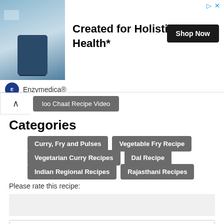[Figure (other): Advertisement banner for Enzymedica Omega-3 supplement. Shows product photo on left, bold text 'Created for Holistic Health*' in center, 'Shop Now' button on right, and Enzymedica brand name with logo at bottom.]
loo Chaat Recipe Video
Categories
Curry, Fry and Pulses
Vegetable Fry Recipe
Vegetarian Curry Recipes
Dal Recipe
Indian Regional Recipes
Rajasthani Recipes
Please rate this recipe:
5.00 Ratings. (Rated by 1 people)